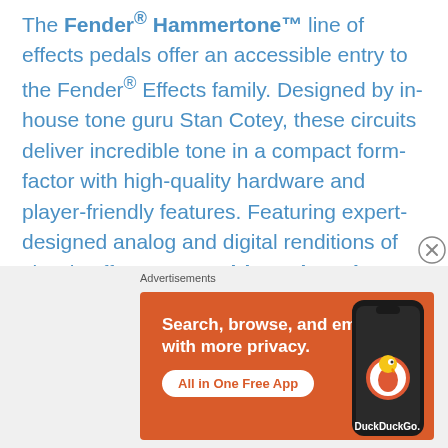The Fender® Hammertone™ line of effects pedals offer an accessible entry to the Fender® Effects family. Designed by in-house tone guru Stan Cotey, these circuits deliver incredible tone in a compact form-factor with high-quality hardware and player-friendly features. Featuring expert-designed analog and digital renditions of classic effects – Overdrive, Distortion, Fuzz, Chorus, Delay, Reverb and more – these compact pedals deliver gig-worthy tones at an accessible price.
[Figure (screenshot): DuckDuckGo advertisement banner with orange background showing 'Search, browse, and email with more privacy. All in One Free App' with a phone mockup and DuckDuckGo logo]